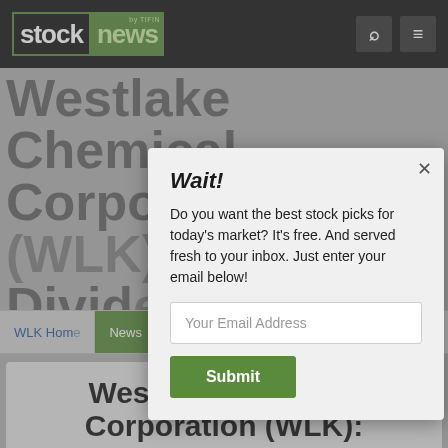stock news by TIFIN
Westlake Chemical Corporation (WLK) Dividends
[Figure (screenshot): Modal popup overlay on Stock News website with email subscription prompt. Title 'Wait!', body text 'Do you want the best stock picks for today's market? It's free. And served fresh to your inbox. Just enter your email below!', email input field, and green Submit button.]
WLK Home | News | Ratings | Charts | Dividends
Westlake Chemical Corporation (WLK):